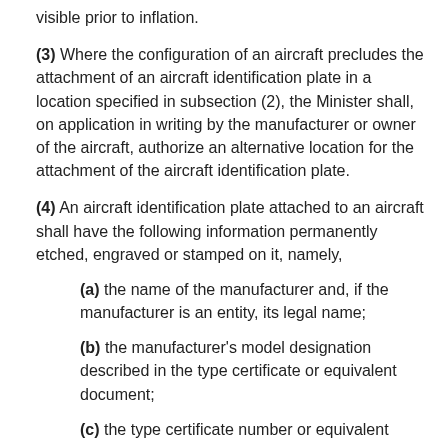visible prior to inflation.
(3) Where the configuration of an aircraft precludes the attachment of an aircraft identification plate in a location specified in subsection (2), the Minister shall, on application in writing by the manufacturer or owner of the aircraft, authorize an alternative location for the attachment of the aircraft identification plate.
(4) An aircraft identification plate attached to an aircraft shall have the following information permanently etched, engraved or stamped on it, namely,
(a) the name of the manufacturer and, if the manufacturer is an entity, its legal name;
(b) the manufacturer’s model designation described in the type certificate or equivalent document;
(c) the type certificate number or equivalent